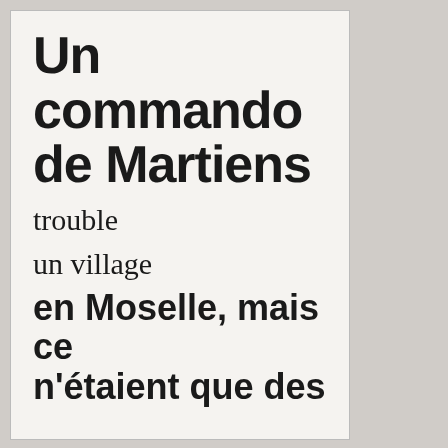Un commando de Martiens trouble un village en Moselle, mais ce n'étaient que des